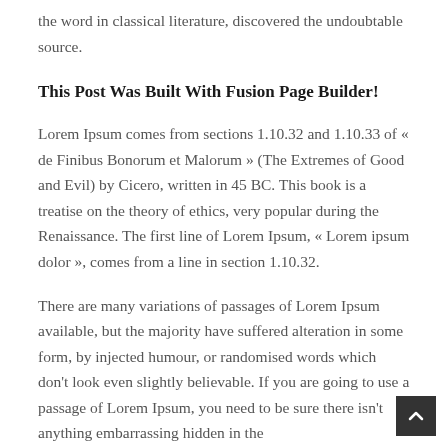the word in classical literature, discovered the undoubtable source.
This Post Was Built With Fusion Page Builder!
Lorem Ipsum comes from sections 1.10.32 and 1.10.33 of « de Finibus Bonorum et Malorum » (The Extremes of Good and Evil) by Cicero, written in 45 BC. This book is a treatise on the theory of ethics, very popular during the Renaissance. The first line of Lorem Ipsum, « Lorem ipsum dolor », comes from a line in section 1.10.32.
There are many variations of passages of Lorem Ipsum available, but the majority have suffered alteration in some form, by injected humour, or randomised words which don't look even slightly believable. If you are going to use a passage of Lorem Ipsum, you need to be sure there isn't anything embarrassing hidden in the